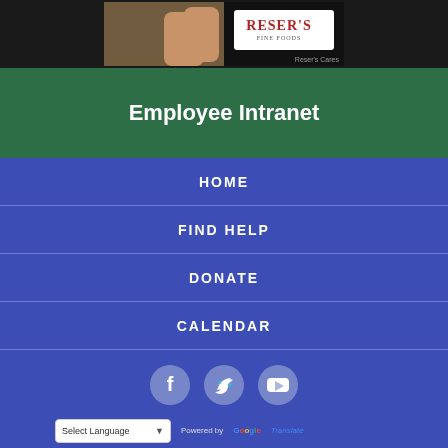[Figure (photo): Reser's Fine Foods banner image with hands and logo visible]
Employee Intranet
HOME
FIND HELP
DONATE
CALENDAR
CAREERS
[Figure (illustration): Social media icons: Facebook, Twitter, YouTube]
Select Language  Powered by Google Translate